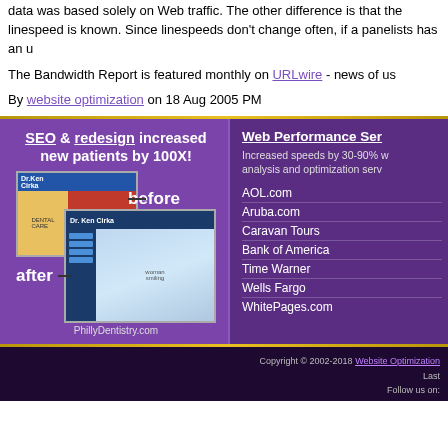data was based solely on Web traffic. The other difference is that the linespeed is known. Since linespeeds don't change often, if a panelists has an u...
The Bandwidth Report is featured monthly on URLwire - news of us...
By website optimization on 18 Aug 2005 PM
[Figure (illustration): Advertisement for PhillyDentistry.com showing before and after website redesign with SEO & redesign increased new patients by 100X!]
AOL.com
Aruba.com
Caravan Tours
Bank of America
Time Warner
Wells Fargo
WhitePages.com
Copyright © 2002-2018 Website Optimization... Last... Follow us on: